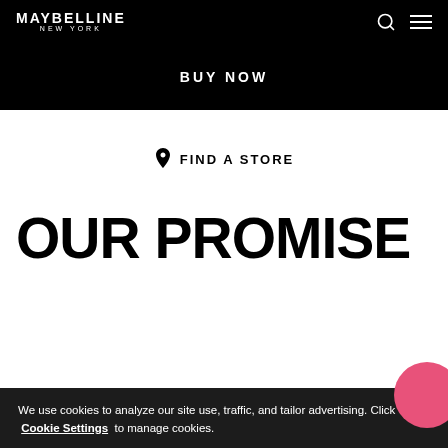MAYBELLINE NEW YORK
BUY NOW
FIND A STORE
OUR PROMISE
We use cookies to analyze our site use, traffic, and tailor advertising. Click Cookie Settings to manage cookies.
Cookie Settings